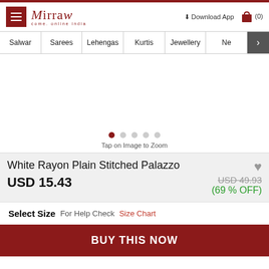Mirraw - come, online india | Download App | Cart (0)
Salwar | Sarees | Lehengas | Kurtis | Jewellery | Ne >
[Figure (other): Product image carousel placeholder with 5 navigation dots (first dot active/dark red, rest grey). Text below: Tap on Image to Zoom]
White Rayon Plain Stitched Palazzo
USD 15.43
USD 49.93 (69 % OFF)
Select Size  For Help Check  Size Chart
BUY THIS NOW